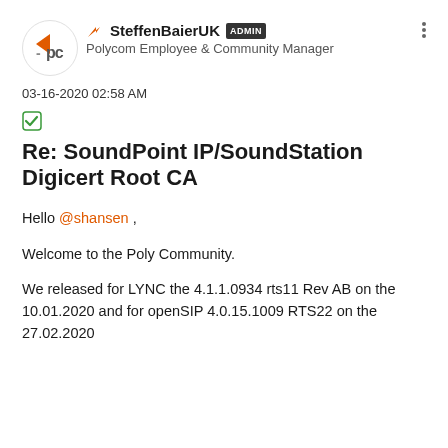SteffenBaierUK ADMIN — Polycom Employee & Community Manager
03-16-2020 02:58 AM
Re: SoundPoint IP/SoundStation Digicert Root CA
Hello @shansen ,
Welcome to the Poly Community.
We released for LYNC the 4.1.1.0934 rts11 Rev AB on the 10.01.2020 and for openSIP 4.0.15.1009 RTS22 on the 27.02.2020